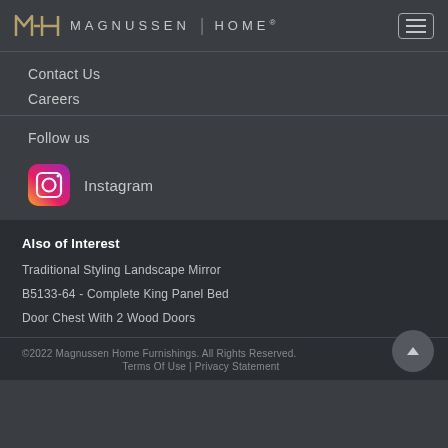MH MAGNUSSEN | HOME®
Contact Us
Careers
Follow us
[Figure (logo): Instagram logo icon (pink/red gradient rounded square with camera outline)]
Instagram
Also of Interest
Traditional Styling Landscape Mirror
B5133-64 - Complete King Panel Bed
Door Chest With 2 Wood Doors
©2022 Magnussen Home Furnishings. All Rights Reserved.
Terms Of Use | Privacy Statement